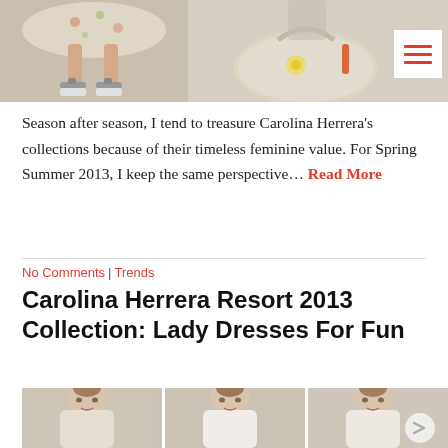[Figure (photo): Two fashion photos side by side: left shows a model's lower body in a floral dress with sandals on a white platform; right shows a model holding a large beige/cream bag, with a hamburger menu icon overlay in the top right.]
Season after season, I tend to treasure Carolina Herrera's collections because of their timeless feminine value. For Spring Summer 2013, I keep the same perspective... Read More
No Comments | Trends
Carolina Herrera Resort 2013 Collection: Lady Dresses For Fun
[Figure (photo): Three fashion model photos in a row (cropped at top of page bottom), showing female models from shoulders up, wearing elegant dresses; a right navigation arrow is partially visible on the far right.]